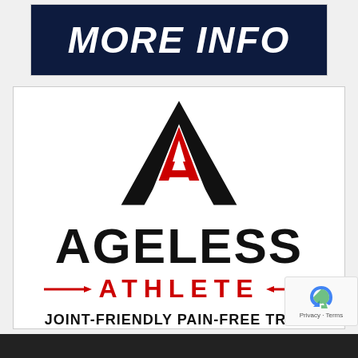[Figure (other): Dark navy blue button/banner with bold white italic text reading MORE INFO]
[Figure (logo): Ageless Athlete logo featuring a large black geometric A shape with a red inner A shape, bold black text AGELESS, red text ATHLETE with decorative dashes, and tagline JOINT-FRIENDLY PAIN-FREE TRAINING]